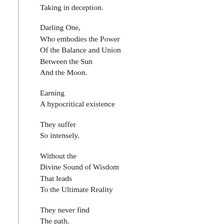Taking in deception.
Darling One,
Who embodies the Power
Of the Balance and Union
Between the Sun
And the Moon.
Earning
A hypocritical existence
They suffer
So intensely.
Without the
Divine Sound of Wisdom
That leads
To the Ultimate Reality
They never find
The path.